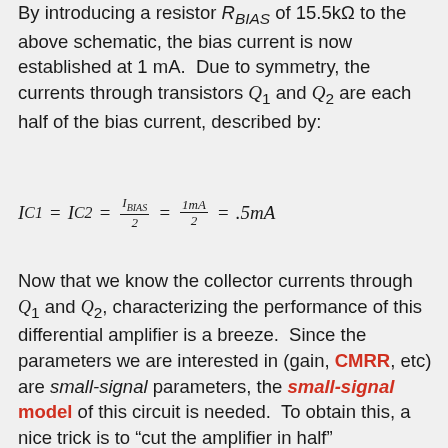By introducing a resistor R_BIAS of 15.5kΩ to the above schematic, the bias current is now established at 1 mA. Due to symmetry, the currents through transistors Q1 and Q2 are each half of the bias current, described by:
Now that we know the collector currents through Q1 and Q2, characterizing the performance of this differential amplifier is a breeze. Since the parameters we are interested in (gain, CMRR, etc) are small-signal parameters, the small-signal model of this circuit is needed. To obtain this, a nice trick is to "cut the amplifier in half" (lengthwise, such that